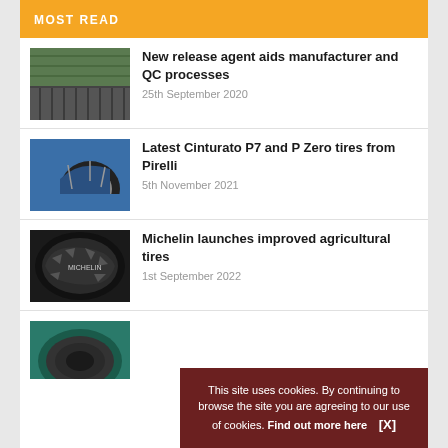MOST READ
New release agent aids manufacturer and QC processes | 25th September 2020
Latest Cinturato P7 and P Zero tires from Pirelli | 5th November 2021
Michelin launches improved agricultural tires | 1st September 2022
Fourth article (partial, cut off)
This site uses cookies. By continuing to browse the site you are agreeing to our use of cookies. Find out more here   [X]